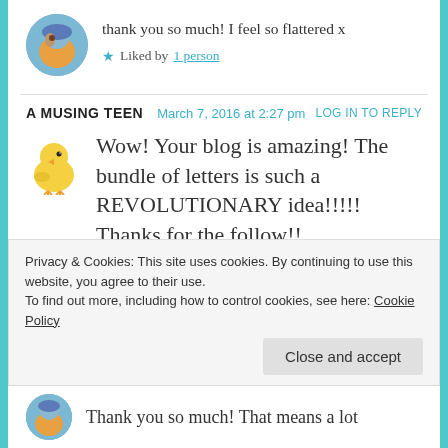[Figure (photo): Circular avatar photo of a person wearing a blue hat, seen from the side]
thank you so much! I feel so flattered x
★ Liked by 1 person
A MUSING TEEN   March 7, 2016 at 2:27 pm   LOG IN TO REPLY
[Figure (illustration): Small yellow chick emoji/illustration]
Wow! Your blog is amazing! The bundle of letters is such a REVOLUTIONARY idea!!!!! Thanks for the follow!!
★ Liked by 1 person
Privacy & Cookies: This site uses cookies. By continuing to use this website, you agree to their use.
To find out more, including how to control cookies, see here: Cookie Policy
Close and accept
[Figure (photo): Circular avatar photo of a person with blue hat, partially visible at bottom]
Thank you so much! That means a lot